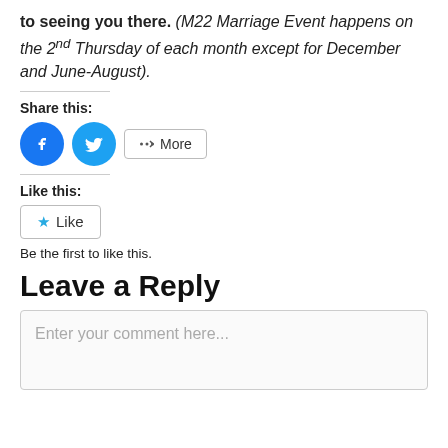to seeing you there. (M22 Marriage Event happens on the 2nd Thursday of each month except for December and June-August).
Share this:
[Figure (infographic): Facebook share button (blue circle with white f icon), Twitter share button (blue circle with white bird icon), and a More button with share icon]
Like this:
Like button with star icon
Be the first to like this.
Leave a Reply
Enter your comment here...